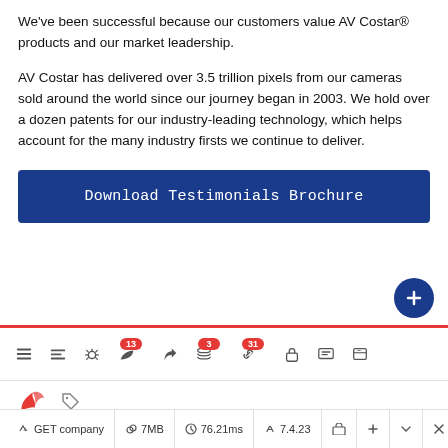We've been successful because our customers value AV Costar® products and our market leadership.
AV Costar has delivered over 3.5 trillion pixels from our cameras sold around the world since our journey began in 2003. We hold over a dozen patents for our industry-leading technology, which helps account for the many industry firsts we continue to deliver.
[Figure (screenshot): Blue download button labeled 'Download Testimonials Brochure']
[Figure (screenshot): Browser developer toolbar with icons, badges showing 13, 3, 31, Laravel logo, tag icon, and status bar showing GET company, 7MB, 76.21ms, 7.4.23]